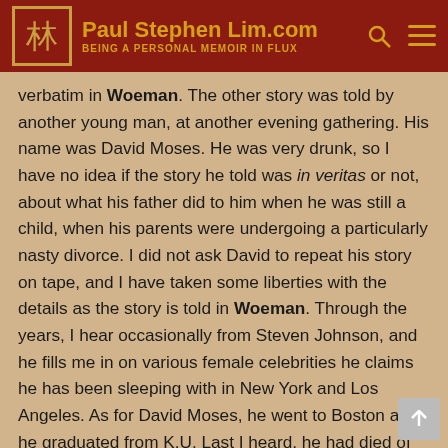Paul Stephen Lim.com — BEING A PERSONAL MEMOIR IN FLUX
verbatim in Woeman.  The other story was told by another young man, at another evening gathering.  His name was David Moses.  He was very drunk, so I have no idea if the story he told was in veritas or not, about what his father did to him when he was still a child, when his parents were undergoing a particularly nasty divorce.  I did not ask David to repeat his story on tape, and I have taken some liberties with the details as the story is told in Woeman. Through the years, I hear occasionally from Steven Johnson, and he fills me in on various female celebrities he claims he has been sleeping with in New York and Los Angeles.  As for David Moses, he went to Boston after he graduated from K.U.  Last I heard, he had died of A.I.D.S.…More inventively, Woeman also has built-in echoes of the tragic story of Dryas from Greek mythology. As for the the title of the play, again it is a